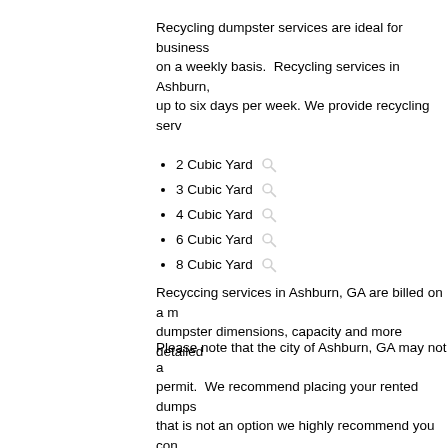Recycling dumpster services are ideal for businesses that need recycling picked up on a weekly basis. Recycling services in Ashburn, GA are available anywhere from one to up to six days per week. We provide recycling services in the following sizes:
2 Cubic Yard
3 Cubic Yard
4 Cubic Yard
6 Cubic Yard
8 Cubic Yard
Recycling services in Ashburn, GA are billed on a monthly basis. Click the icon to see dumpster dimensions, capacity and more detailed information about each dumpster size.
Please note that the city of Ashburn, GA may not allow dumpster placement without a permit. We recommend placing your rented dumpster on private property but if that is not an option we highly recommend you contact the city of Ashburn, GA to inquire about permit requirements. Please note dumpsters placed without permits may be required to be removed without notice by the city.
Our goal is to streamline and simplify the dumpster rental experience. We have achieved this goal by combining the ease and convenience of the internet with our industry. We accept all major credit cards enabling you to rent online. All you need to do is enter your zip code, select the appropriate dumpster size and have the dumpster delivered to the site. Your dumpster will arrive on the date and location you specify when ordering through DumpstersofAmerica.com. Order your dumpster in